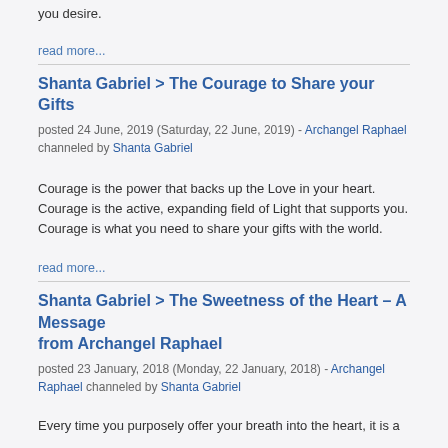you desire.
read more...
Shanta Gabriel > The Courage to Share your Gifts
posted 24 June, 2019 (Saturday, 22 June, 2019) - Archangel Raphael channeled by Shanta Gabriel
Courage is the power that backs up the Love in your heart. Courage is the active, expanding field of Light that supports you. Courage is what you need to share your gifts with the world.
read more...
Shanta Gabriel > The Sweetness of the Heart – A Message from Archangel Raphael
posted 23 January, 2018 (Monday, 22 January, 2018) - Archangel Raphael channeled by Shanta Gabriel
Every time you purposely offer your breath into the heart, it is a